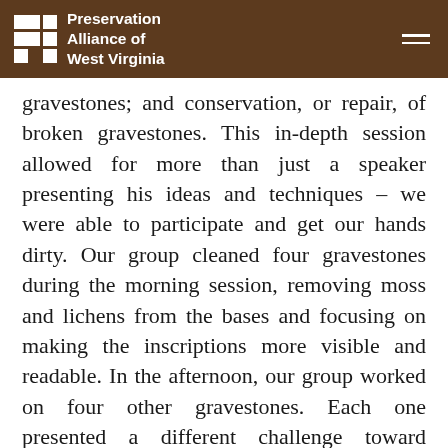Preservation Alliance of West Virginia
gravestones; and conservation, or repair, of broken gravestones. This in-depth session allowed for more than just a speaker presenting his ideas and techniques – we were able to participate and get our hands dirty. Our group cleaned four gravestones during the morning session, removing moss and lichens from the bases and focusing on making the inscriptions more visible and readable. In the afternoon, our group worked on four other gravestones. Each one presented a different challenge toward conservation and repair. We reattached a top portion of a grave marker that had been laying on the ground; we leveled a leaning gravestone; we adhered a large head stone with its base to eliminate the possibility of it falling over; and we used a tripod and hoist to lift and reset large and heavy